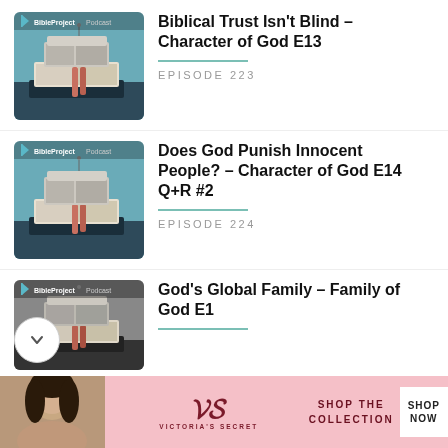[Figure (screenshot): BibleProject Podcast thumbnail showing an exploded-view illustration of stacked books/building on teal background with BibleProject Podcast logo]
Biblical Trust Isn't Blind – Character of God E13
EPISODE 223
[Figure (screenshot): BibleProject Podcast thumbnail showing same illustration on teal background]
Does God Punish Innocent People? – Character of God E14 Q+R #2
EPISODE 224
[Figure (screenshot): BibleProject Podcast thumbnail showing same illustration on teal background]
God's Global Family – Family of God E1
[Figure (infographic): Victoria's Secret advertisement banner with woman photo, VS logo, SHOP THE COLLECTION text, and SHOP NOW button]